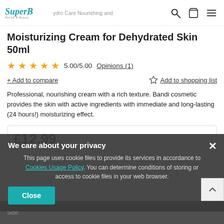SuperB Health & Beauty — Hydro Care Nourishing and Moisturizing Cream for Dehydrated Skin 50ml
Moisturizing Cream for Dehydrated Skin 50ml
5.00/5.00  Opinions (1)
+ Add to compare    ☆ Add to shopping list
Professional, nourishing cream with a rich texture. Bandi cosmetic provides the skin with active ingredients with immediate and long-lasting (24 hours!) moisturizing effect.
£12.99
We care about your privacy
This page uses cookie files to provide its services in accordance to Cookies Usage Policy. You can determine conditions of storing or access to cookie files in your web browser.
Close